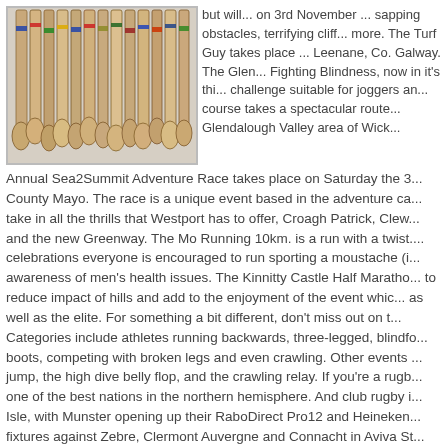[Figure (photo): Photo of hurling sticks (hurleys) hung on a wall, various sizes with colorful tape markings]
but will... on 3rd November ... sapping obstacles, terrifying cliff ... more. The Turf Guy takes place ... Leenane, Co. Galway. The Glen... Fighting Blindness, now in it's thi... challenge suitable for joggers an... course takes a spectacular route... Glendalough Valley area of Wick...
Annual Sea2Summit Adventure Race takes place on Saturday the 3... County Mayo. The race is a unique event based in the adventure ca... take in all the thrills that Westport has to offer, Croagh Patrick, Clew... and the new Greenway. The Mo Running 10km. is a run with a twist.... celebrations everyone is encouraged to run sporting a moustache (i... awareness of men's health issues. The Kinnitty Castle Half Maratho... to reduce impact of hills and add to the enjoyment of the event whic... as well as the elite. For something a bit different, don't miss out on t... Categories include athletes running backwards, three-legged, blindfo... boots, competing with broken legs and even crawling. Other events ... jump, the high dive belly flop, and the crawling relay. If you're a rugb... one of the best nations in the northern hemisphere. And club rugby i... Isle, with Munster opening up their RaboDirect Pro12 and Heineken... fixtures against Zebre, Clermont Auvergne and Connacht in Aviva St...